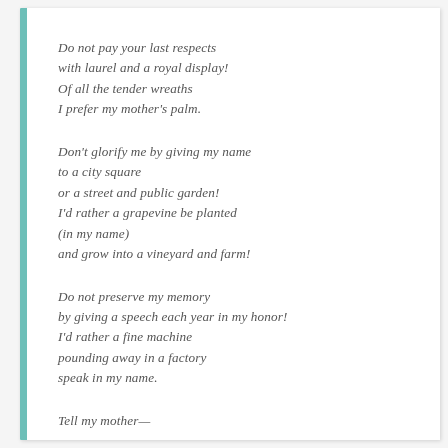Do not pay your last respects
with laurel and a royal display!
Of all the tender wreaths
I prefer my mother's palm.
Don't glorify me by giving my name
to a city square
or a street and public garden!
I'd rather a grapevine be planted
(in my name)
and grow into a vineyard and farm!
Do not preserve my memory
by giving a speech each year in my honor!
I'd rather a fine machine
pounding away in a factory
speak in my name.
Tell my mother—